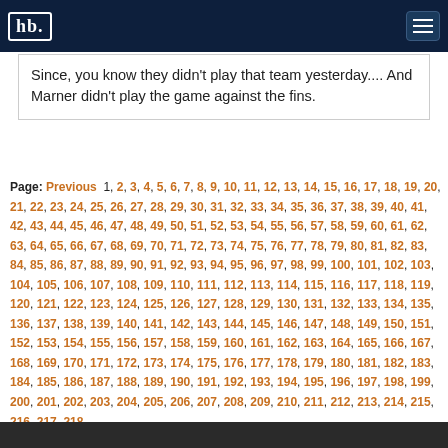hb. [logo]
Since, you know they didn't play that team yesterday.... And Marner didn't play the game against the fins.
Page: Previous 1, 2, 3, 4, 5, 6, 7, 8, 9, 10, 11, 12, 13, 14, 15, 16, 17, 18, 19, 20, 21, 22, 23, 24, 25, 26, 27, 28, 29, 30, 31, 32, 33, 34, 35, 36, 37, 38, 39, 40, 41, 42, 43, 44, 45, 46, 47, 48, 49, 50, 51, 52, 53, 54, 55, 56, 57, 58, 59, 60, 61, 62, 63, 64, 65, 66, 67, 68, 69, 70, 71, 72, 73, 74, 75, 76, 77, 78, 79, 80, 81, 82, 83, 84, 85, 86, 87, 88, 89, 90, 91, 92, 93, 94, 95, 96, 97, 98, 99, 100, 101, 102, 103, 104, 105, 106, 107, 108, 109, 110, 111, 112, 113, 114, 115, 116, 117, 118, 119, 120, 121, 122, 123, 124, 125, 126, 127, 128, 129, 130, 131, 132, 133, 134, 135, 136, 137, 138, 139, 140, 141, 142, 143, 144, 145, 146, 147, 148, 149, 150, 151, 152, 153, 154, 155, 156, 157, 158, 159, 160, 161, 162, 163, 164, 165, 166, 167, 168, 169, 170, 171, 172, 173, 174, 175, 176, 177, 178, 179, 180, 181, 182, 183, 184, 185, 186, 187, 188, 189, 190, 191, 192, 193, 194, 195, 196, 197, 198, 199, 200, 201, 202, 203, 204, 205, 206, 207, 208, 209, 210, 211, 212, 213, 214, 215, 216, 217, 218,